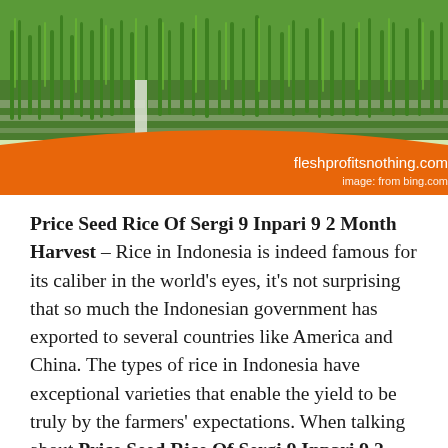[Figure (photo): Rice paddy field with green shoots growing in rows, with an orange curved banner overlay at the bottom reading 'fleshprofitsnothing.com' and 'image: from bing.com']
Price Seed Rice Of Sergi 9 Inpari 9 2 Month Harvest – Rice in Indonesia is indeed famous for its caliber in the world's eyes, it's not surprising that so much the Indonesian government has exported to several countries like America and China. The types of rice in Indonesia have exceptional varieties that enable the yield to be truly by the farmers' expectations. When talking about Price Seed Rice Of Sergi 9 Inpari 9 2 Month Harvest, in general, the price of rice has been broken up based on the rise varieties